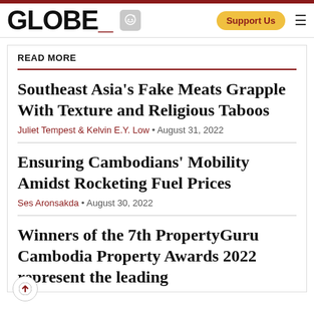GLOBE_
READ MORE
Southeast Asia's Fake Meats Grapple With Texture and Religious Taboos
Juliet Tempest & Kelvin E.Y. Low • August 31, 2022
Ensuring Cambodians' Mobility Amidst Rocketing Fuel Prices
Ses Aronsakda • August 30, 2022
Winners of the 7th PropertyGuru Cambodia Property Awards 2022 represent the leading